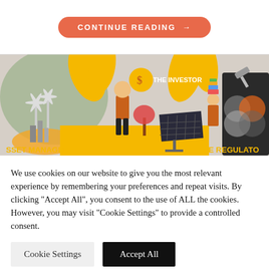[Figure (illustration): A 'CONTINUE READING' button with orange/coral rounded rectangle styling and arrow]
[Figure (illustration): Colorful illustration showing various sustainable finance stakeholders including THE INVESTOR (man with dollar coin), ASSET MANAGER (wind turbines, hand holding city), THE REGULATOR (people with puzzle pieces, gavel), solar panels, and yellow foliage. Characters in orange, yellow, gray tones.]
We use cookies on our website to give you the most relevant experience by remembering your preferences and repeat visits. By clicking "Accept All", you consent to the use of ALL the cookies. However, you may visit "Cookie Settings" to provide a controlled consent.
Cookie Settings
Accept All